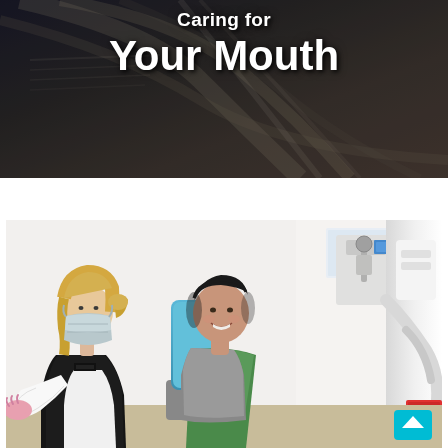Caring for Your Mouth
[Figure (photo): Background image of dark book pages or documents, blurred, serving as backdrop for the title text]
[Figure (photo): Dental clinic scene showing a female dentist wearing a face mask and pink gloves consulting with a smiling male patient seated in a dental chair. Dental equipment including a microscope visible in the background on the right side. A teal/cyan scroll-to-top button visible in the lower right corner.]